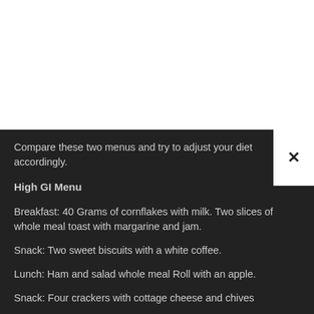Compare these two menus and try to adjust your diet accordingly.
High GI Menu
Breakfast: 40 Grams of cornflakes with milk. Two slices of whole meal toast with margarine and jam.
Snack: Two sweet biscuits with a white coffee.
Lunch: Ham and salad whole meal Roll with an apple.
Snack: Four crackers with cottage cheese and chives